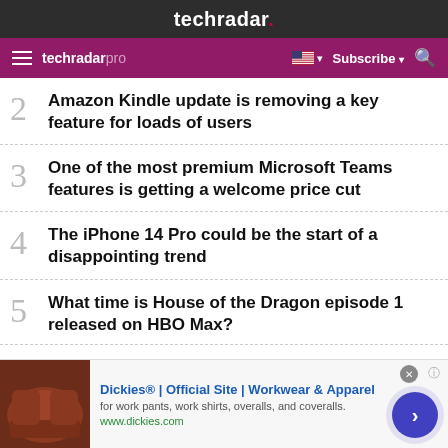techradar.
techradar pro  Subscribe
2  Amazon Kindle update is removing a key feature for loads of users
3  One of the most premium Microsoft Teams features is getting a welcome price cut
4  The iPhone 14 Pro could be the start of a disappointing trend
5  What time is House of the Dragon episode 1 released on HBO Max?
Dickies® | Official Site | Workwear & Apparel
for work pants, work shirts, overalls, and coveralls.
www.dickies.com